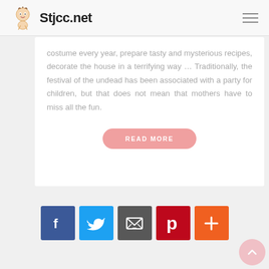Stjcc.net
costume every year, prepare tasty and mysterious recipes, decorate the house in a terrifying way … Traditionally, the festival of the undead has been associated with a party for children, but that does not mean that mothers have to miss all the fun.
READ MORE
[Figure (infographic): Social sharing icons: Facebook (blue), Twitter (light blue), Email (dark gray), Pinterest (red), Add/More (orange)]